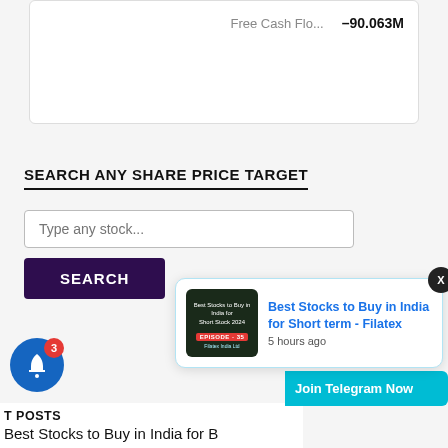|  |  |
| --- | --- |
| Free Cash Flo... | –90.063M |
SEARCH ANY SHARE PRICE TARGET
Type any stock...
SEARCH
[Figure (screenshot): Notification popup showing 'Best Stocks to Buy in India for Short term - Filatex' posted 5 hours ago, with a thumbnail image and a close X button]
Join Telegram Now
T POSTS
Best Stocks to Buy in India for B